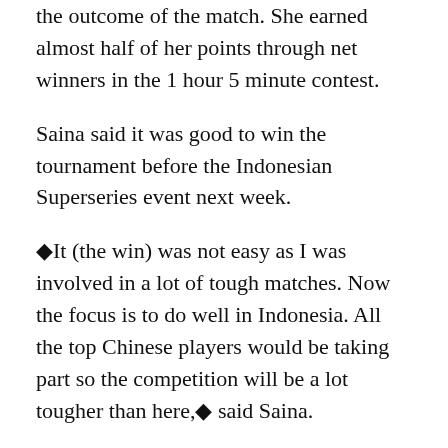the outcome of the match. She earned almost half of her points through net winners in the 1 hour 5 minute contest.
Saina said it was good to win the tournament before the Indonesian Superseries event next week.
◆It (the win) was not easy as I was involved in a lot of tough matches. Now the focus is to do well in Indonesia. All the top Chinese players would be taking part so the competition will be a lot tougher than here,◆ said Saina.
PTI reports from New Delhi: The win will come as a massive boost to Saina◆s confidence ahead of Olympics in July-August. The top seeded Indian was scratchy to start with but drew from her experience and superb maneuvering at the net to beat her second-seeded 17-year-old rival. Although it was a see-saw battle to start